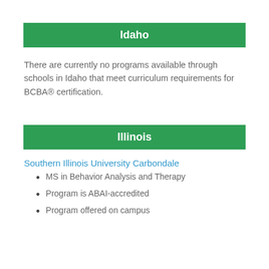Idaho
There are currently no programs available through schools in Idaho that meet curriculum requirements for BCBA® certification.
Illinois
Southern Illinois University Carbondale
MS in Behavior Analysis and Therapy
Program is ABAI-accredited
Program offered on campus